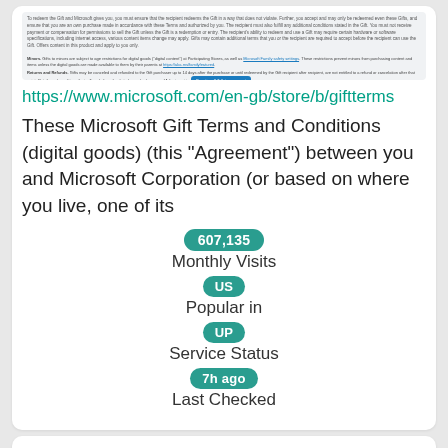[Figure (screenshot): Screenshot of a Microsoft store webpage showing terms and conditions text about Microsoft Gift Terms, with footnotes about offers, returns and refunds, and a 'Questions? Talk to an expert' button.]
https://www.microsoft.com/en-gb/store/b/giftterms
These Microsoft Gift Terms and Conditions (digital goods) (this “Agreement”) between you and Microsoft Corporation (or based on where you live, one of its
607,135
Monthly Visits
US
Popular in
UP
Service Status
7h ago
Last Checked
Buy Xbox Gift Card